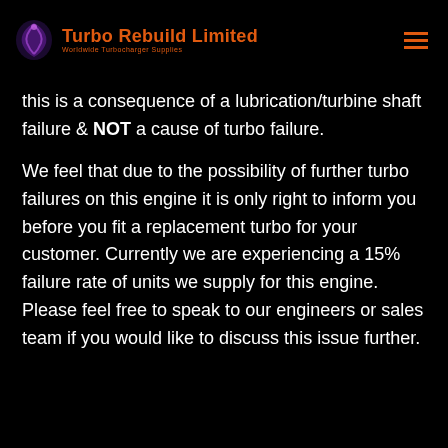Turbo Rebuild Limited — Worldwide Turbocharger Supplies
this is a consequence of a lubrication/turbine shaft failure & NOT a cause of turbo failure.
We feel that due to the possibility of further turbo failures on this engine it is only right to inform you before you fit a replacement turbo for your customer. Currently we are experiencing a 15% failure rate of units we supply for this engine. Please feel free to speak to our engineers or sales team if you would like to discuss this issue further.